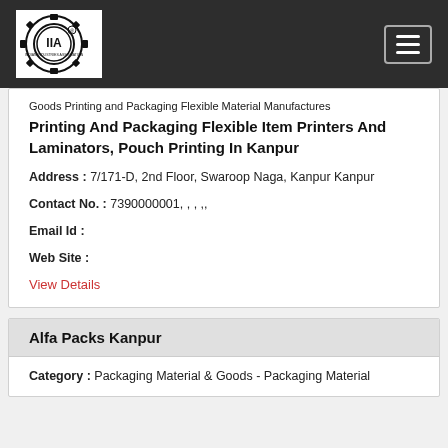[Figure (logo): IIA - Indian Industries Association logo in black and white]
Goods Printing and Packaging Flexible Material Manufactures Printing And Packaging Flexible Item Printers And Laminators, Pouch Printing In Kanpur
Address : 7/171-D, 2nd Floor, Swaroop Naga, Kanpur Kanpur
Contact No. : 7390000001, , , ,,
Email Id :
Web Site :
View Details
Alfa Packs Kanpur
Category : Packaging Material & Goods - Packaging Material